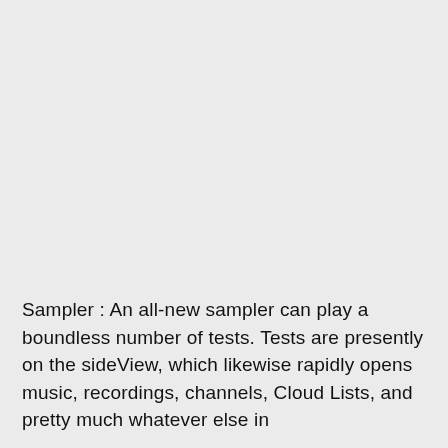Sampler : An all-new sampler can play a boundless number of tests. Tests are presently on the sideView, which likewise rapidly opens music, recordings, channels, Cloud Lists, and pretty much whatever else in